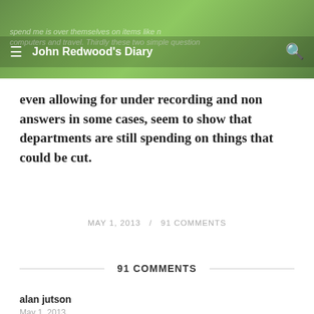[Figure (photo): Green plant leaves background with semi-transparent dark overlay bar containing navigation elements]
John Redwood's Diary
even allowing for under recording and non answers in some cases, seem to show that departments are still spending on things that could be cut.
MAY 1, 2013  /  91 COMMENTS
91 COMMENTS
alan jutson
May 1, 2013
Once again John we have human nature at work here.